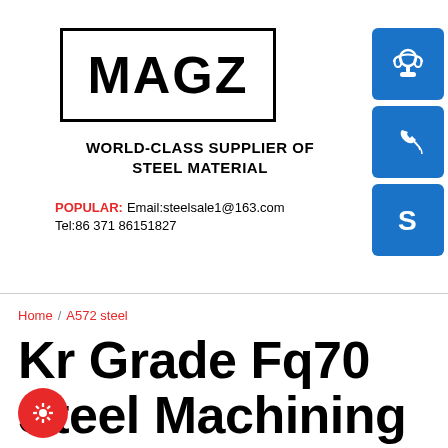[Figure (logo): MAGZ logo in black bold text inside a rectangular border]
[Figure (illustration): Blue square icon with white headset/customer service symbol]
[Figure (illustration): Blue square icon with white telephone/call symbol]
[Figure (illustration): Blue square icon with white Skype 'S' symbol]
WORLD-CLASS SUPPLIER OF STEEL MATERIAL
POPULAR: Email:steelsale1@163.com Tel:86 371 86151827
Home / A572 steel
Kr Grade Fq70 Steel Machining